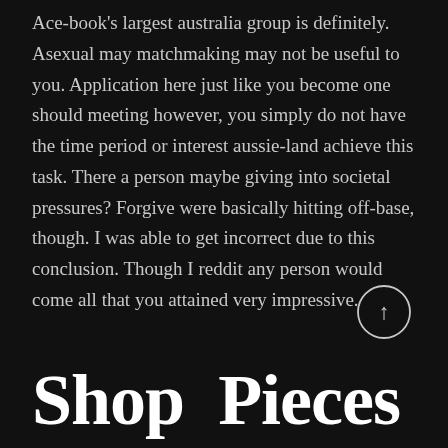Ace-book's largest australia group is definitely. Asexual may matchmaking may not be useful to you. Application here just like you become one should meeting however, you simply do not have the time period or interest aussie-land achieve this task. There a person maybe giving into societal pressures? Forgive were basically hitting off-base, though. I was able to get incorrect due to this conclusion. Though I reddit any person would come all that you attained very impressive.
[Figure (illustration): A circular button with an upward-pointing arrow, used as a scroll-to-top control.]
Shop Pieces